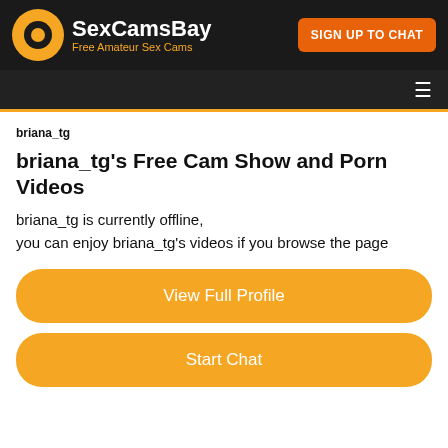[Figure (logo): SexCamsBay logo with orange shutter icon, white brand name text, orange subtitle 'Free Amateur Sex Cams', and orange 'SIGN UP TO CHAT' button on dark background]
briana_tg
briana_tg's Free Cam Show and Porn Videos
briana_tg is currently offline,
you can enjoy briana_tg's videos if you browse the page
View Full Profile
Start Chat